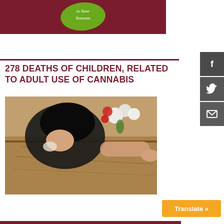[Figure (logo): Dark red/maroon banner with a green grape leaf graphic and text 'to Save Sonoma' in white on the leaf]
278 DEATHS OF CHILDREN, RELATED TO ADULT USE OF CANNABIS
[Figure (photo): A person in black clothing leaning over a wooden coffin, crying, with white and red flowers on the coffin lid]
Translate »